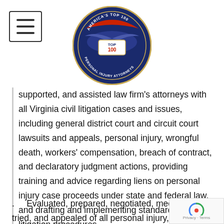[Figure (logo): America's Top 100 Personal Injury Attorneys circular badge/seal logo with eagle wings and 'TOP 100' text in center]
supported, and assisted law firm's attorneys with all Virginia civil litigation cases and issues, including general district court and circuit court lawsuits and appeals, personal injury, wrongful death, workers' compensation, breach of contract, and declaratory judgment actions, providing  training and advice regarding liens on personal injury case proceeds under state and federal law, and drafting and implementing standard Virginia litigation procedures
.    Evaluated, prepared, negotiated, mediated, tried, and appealed of all personal injury,